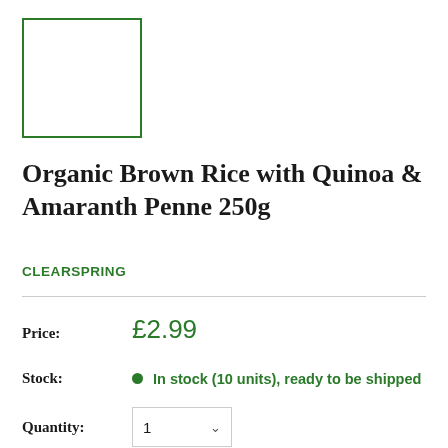[Figure (other): Product image placeholder — empty white box with green border]
Organic Brown Rice with Quinoa & Amaranth Penne 250g
CLEARSPRING
Price: £2.99
Stock: In stock (10 units), ready to be shipped
Quantity: 1